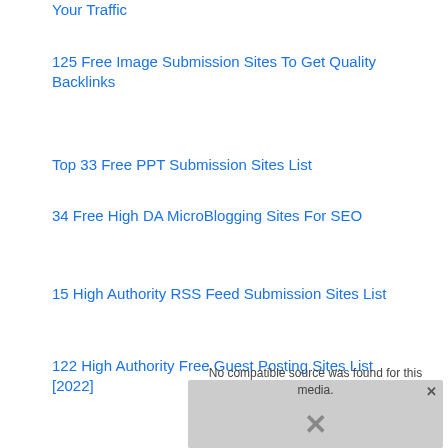Your Traffic
125 Free Image Submission Sites To Get Quality Backlinks
Top 33 Free PPT Submission Sites List
34 Free High DA MicroBlogging Sites For SEO
15 High Authority RSS Feed Submission Sites List
122 High Authority Free Guest Posting Sites List [2022]
[Figure (screenshot): Media player error overlay showing 'No compatible source was found for this media.' with a close button and X icon]